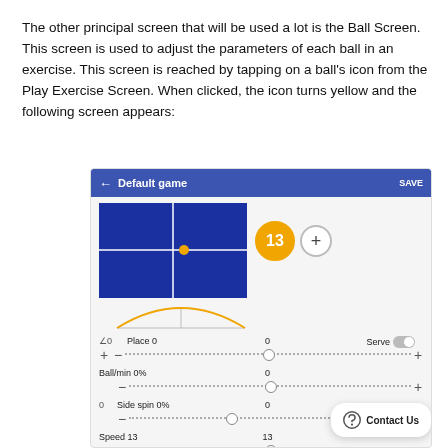The other principal screen that will be used a lot is the Ball Screen. This screen is used to adjust the parameters of each ball in an exercise. This screen is reached by tapping on a ball's icon from the Play Exercise Screen. When clicked, the icon turns yellow and the following screen appears:
[Figure (screenshot): Screenshot of Ball Screen UI showing a tennis court view, ball number 13 (yellow), trajectory arc, and sliders for Place 0, Ball/min 0%, Side spin 0%, Speed 13. Also shows Serve toggle and Contact Us button.]